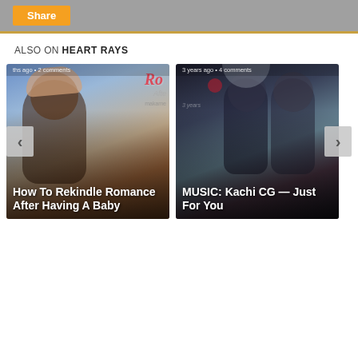Share
ALSO ON HEART RAYS
[Figure (screenshot): Card showing article: How To Rekindle Romance After Having A Baby, with meta text 'ths ago • 2 comments']
[Figure (screenshot): Card showing article: MUSIC: Kachi CG — Just For You, with meta text '3 years ago • 4 comments']